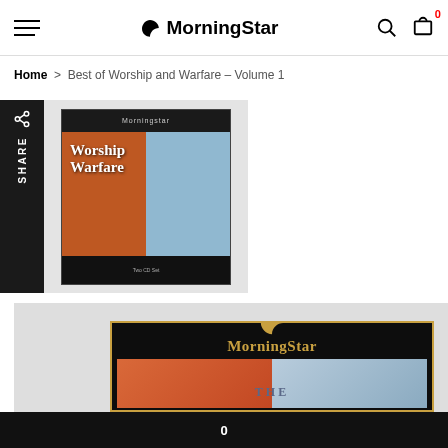MorningStar — navigation bar with hamburger menu, logo, search and cart icons (cart badge: 0)
Home > Best of Worship and Warfare – Volume 1
[Figure (screenshot): Share sidebar with share icon and vertical SHARE text on dark background]
[Figure (photo): Thumbnail album cover for Best of Worship and Warfare featuring orange and blue imagery with text 'Worship Warfare' on dark background with MorningStar branding]
[Figure (photo): Larger product image showing MorningStar album cover with gold border on dark background, gold MorningStar logo and brand name, orange and blue split image below with THE text visible]
0